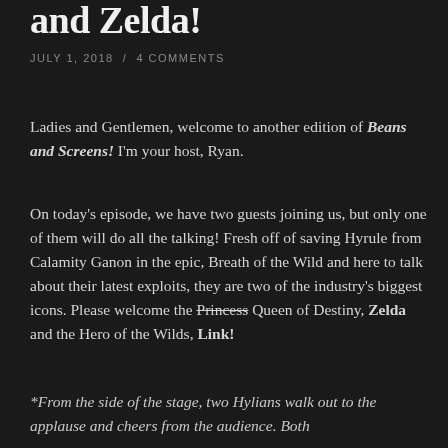and Zelda!
JULY 1, 2018  /  4 COMMENTS
Ladies and Gentlemen, welcome to another edition of Beans and Screens! I'm your host, Ryan.
On today's episode, we have two guests joining us, but only one of them will do all the talking! Fresh off of saving Hyrule from Calamity Ganon in the epic, Breath of the Wild and here to talk about their latest exploits, they are two of the industry's biggest icons. Please welcome the Princess Queen of Destiny, Zelda and the Hero of the Wilds, Link!
*From the side of the stage, two Hylians walk out to the applause and cheers from the audience. Both